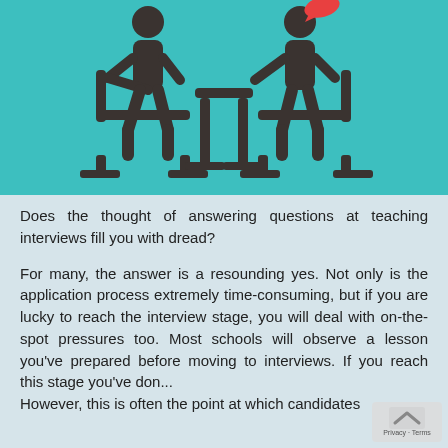[Figure (illustration): Two stick figure people sitting across from each other at a table in an interview setting, on a teal/cyan background. One figure appears to have a small red speech bubble above them.]
Does the thought of answering questions at teaching interviews fill you with dread?
For many, the answer is a resounding yes. Not only is the application process extremely time-consuming, but if you are lucky to reach the interview stage, you will deal with on-the-spot pressures too. Most schools will observe a lesson you've prepared before moving to interviews. If you reach this stage you've don... However, this is often the point at which candidates...